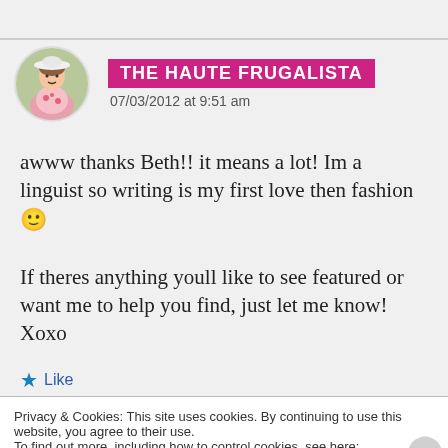THE HAUTE FRUGALISTA
07/03/2012 at 9:51 am
awww thanks Beth!! it means a lot! Im a linguist so writing is my first love then fashion 🙂 If theres anything youll like to see featured or want me to help you find, just let me know! Xoxo
★ Like
Privacy & Cookies: This site uses cookies. By continuing to use this website, you agree to their use.
To find out more, including how to control cookies, see here: Cookie Policy
Close and accept